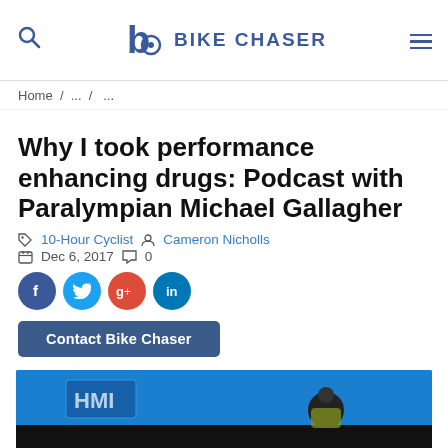BIKE CHASER
Home / ... / ...
Why I took performance enhancing drugs: Podcast with Paralympian Michael Gallagher
10-Hour Cyclist  Cameron Nicholls  Dec 6, 2017  0
[Figure (illustration): Social media share icons: Facebook, Twitter, Google+, LinkedIn]
Contact Bike Chaser
[Figure (photo): Cycling athlete at Paralympic event, blue barrier visible with partial text HMI]